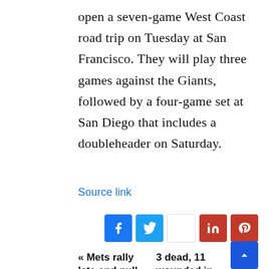open a seven-game West Coast road trip on Tuesday at San Francisco. They will play three games against the Giants, followed by a four-game set at San Diego that includes a doubleheader on Saturday.
Source link
[Figure (other): Social media share buttons: Facebook, Twitter, empty, LinkedIn, Pinterest]
« Mets rally late and pull off
3 dead, 11 wounded in